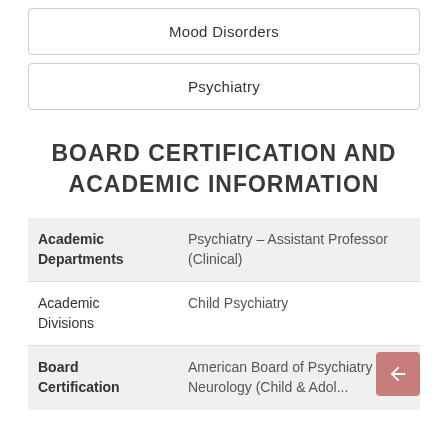Mood Disorders
Psychiatry
BOARD CERTIFICATION AND ACADEMIC INFORMATION
| Field | Value |
| --- | --- |
| Academic Departments | Psychiatry – Assistant Professor (Clinical) |
| Academic Divisions | Child Psychiatry |
| Board Certification | American Board of Psychiatry & Neurology (Child & Adol... |